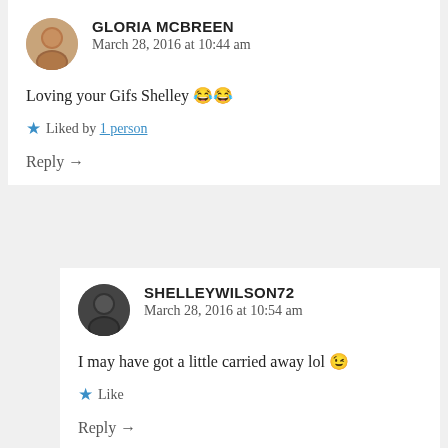GLORIA MCBREEN
March 28, 2016 at 10:44 am
Loving your Gifs Shelley 😂😂
★ Liked by 1 person
Reply →
SHELLEYWILSON72
March 28, 2016 at 10:54 am
I may have got a little carried away lol 😉
★ Like
Reply →